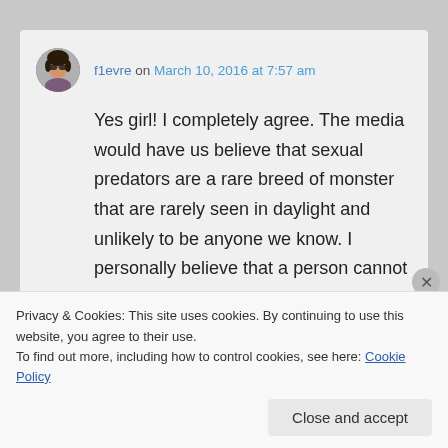f1evre on March 10, 2016 at 7:57 am
Yes girl! I completely agree. The media would have us believe that sexual predators are a rare breed of monster that are rarely seen in daylight and unlikely to be anyone we know. I personally believe that a person cannot control what they're attracted to but it's what they do about it
Privacy & Cookies: This site uses cookies. By continuing to use this website, you agree to their use.
To find out more, including how to control cookies, see here: Cookie Policy
Close and accept